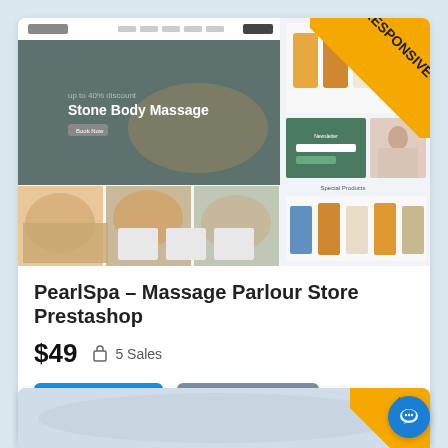[Figure (screenshot): Screenshot of PearlSpa Massage Parlour Store Prestashop theme showing a website with hero banner 'Stone Body Massage', product images, spa service photos, and product listings with a RESPONSIVE badge in corner.]
PearlSpa – Massage Parlour Store Prestashop
$49   5 Sales
Buy Now   Live Demo
[Figure (screenshot): Partial screenshot of another product card at bottom of page with RESPONSIVE badge partially visible, and a blue chat bubble widget.]